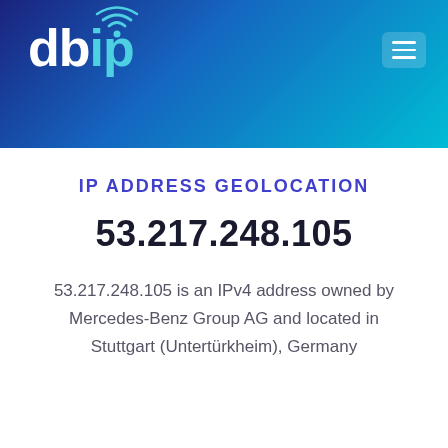[Figure (logo): db-ip logo with wifi signal icon above the letter i, text in white and cyan on dark blue to cyan gradient header background]
IP ADDRESS GEOLOCATION
53.217.248.105
53.217.248.105 is an IPv4 address owned by Mercedes-Benz Group AG and located in Stuttgart (Untertürkheim), Germany